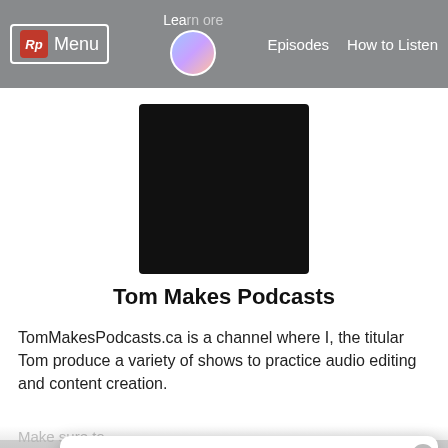[Figure (screenshot): RadioPublic website navigation bar with logo (Rp), Menu text, Learn More link, podcast thumbnail, Episodes and How to Listen links]
[Figure (photo): Black square podcast cover art image for Tom Makes Podcasts]
Tom Makes Podcasts
TomMakesPodcasts.ca is a channel where I, the titular Tom produce a variety of shows to practice audio editing and content creation.
Make sure to ...
[Figure (illustration): Illustration of a woman in red top with dark pants standing next to a green leaf and a purple card with a checkmark]
Hi! Is this your podcast?
Verify your show and get free RadioPublic tools.
Get started